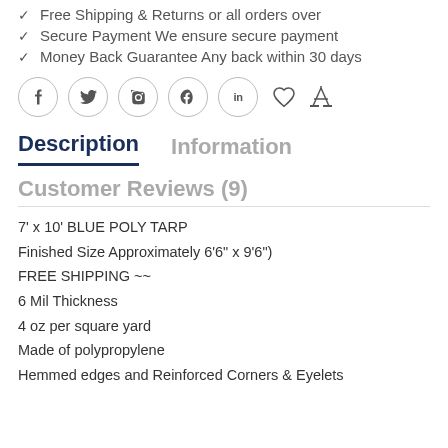✓ Free Shipping & Returns or all orders over
✓ Secure Payment We ensure secure payment
✓ Money Back Guarantee Any back within 30 days
[Figure (other): Social media share icons row: Facebook, Twitter, Pinterest, WhatsApp, LinkedIn circles, plus heart (wishlist) and scale (compare) icons]
Description | Information (tabs)
Customer Reviews (9)
7' x 10' BLUE POLY TARP
Finished Size Approximately 6'6" x 9'6")
FREE SHIPPING ~~
6 Mil Thickness
4 oz per square yard
Made of polypropylene
Hemmed edges and Reinforced Corners & Eyelets